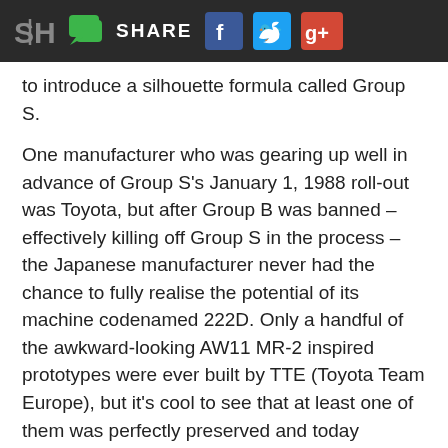SH | [chat icon] SHARE [Facebook] [Twitter] [Google+]
to introduce a silhouette formula called Group S.
One manufacturer who was gearing up well in advance of Group S's January 1, 1988 roll-out was Toyota, but after Group B was banned – effectively killing off Group S in the process – the Japanese manufacturer never had the chance to fully realise the potential of its machine codenamed 222D. Only a handful of the awkward-looking AW11 MR-2 inspired prototypes were ever built by TTE (Toyota Team Europe), but it's cool to see that at least one of them was perfectly preserved and today